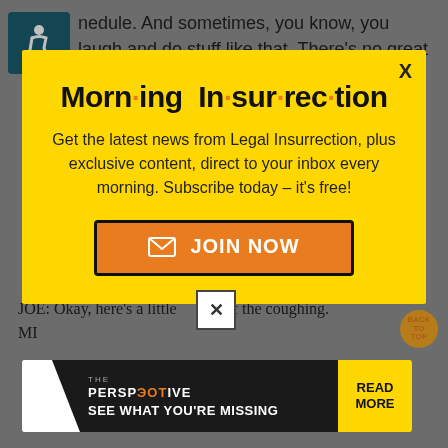hedule. And sometimes, you know, you laugh and do stuff like that. There's no great conspiracy here.
[Figure (infographic): Morning Insurrection newsletter popup with yellow background, title 'Morn·ing In·sur·rec·tion', subscription call-to-action text, and orange JOIN NOW button]
JOE: Okay, here's a little of the coughing.
MI
[Figure (infographic): The Perspective advertisement banner with dark background and yellow READ MORE button on the right side]